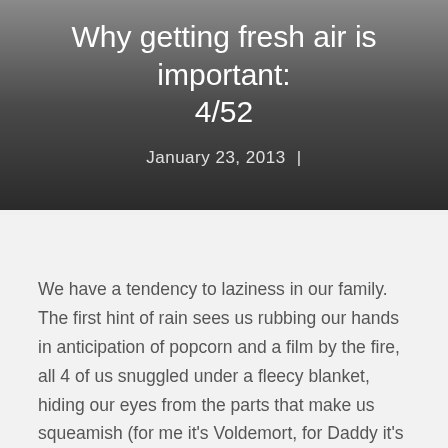Why getting fresh air is important: 4/52
January 23, 2013 |
We have a tendency to laziness in our family. The first hint of rain sees us rubbing our hands in anticipation of popcorn and a film by the fire, all 4 of us snuggled under a fleecy blanket, hiding our eyes from the parts that make us squeamish (for me it's Voldemort, for Daddy it's more likely to be a